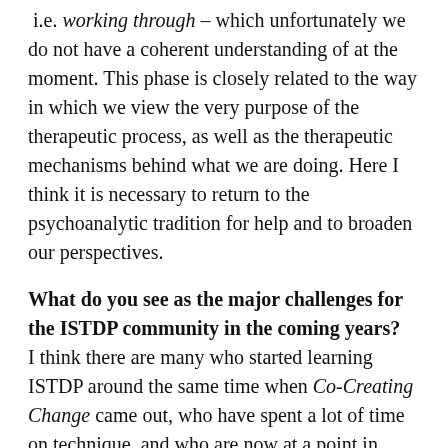i.e. working through – which unfortunately we do not have a coherent understanding of at the moment. This phase is closely related to the way in which we view the very purpose of the therapeutic process, as well as the therapeutic mechanisms behind what we are doing. Here I think it is necessary to return to the psychoanalytic tradition for help and to broaden our perspectives.
What do you see as the major challenges for the ISTDP community in the coming years?
I think there are many who started learning ISTDP around the same time when Co-Creating Change came out, who have spent a lot of time on technique, and who are now at a point in